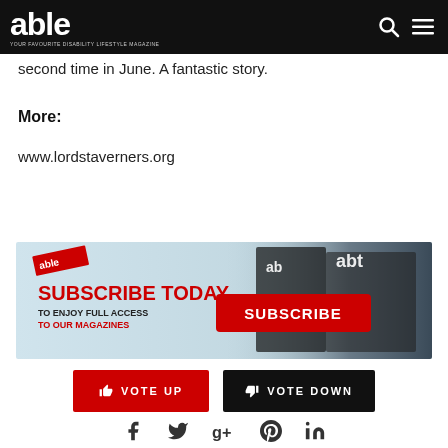able — YOUR FAVOURITE DISABILITY LIFESTYLE MAGAZINE
second time in June. A fantastic story.
More:
www.lordstaverners.org
[Figure (infographic): Subscribe Today banner ad for Able magazine. Red text reads SUBSCRIBE TODAY, TO ENJOY FULL ACCESS TO OUR MAGAZINES, with a red SUBSCRIBE button on the right side and magazine images in the background.]
[Figure (infographic): Two voting buttons: red VOTE UP button with thumbs up icon, and black VOTE DOWN button with thumbs down icon.]
[Figure (infographic): Social media icons: Facebook (f), Twitter (bird), Google+ (g+), Pinterest (P), LinkedIn (in)]